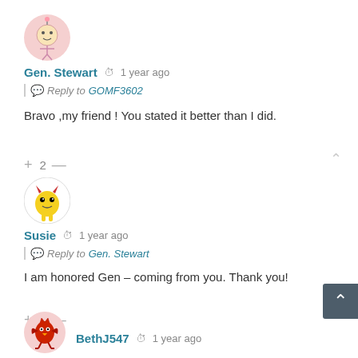[Figure (illustration): Avatar for Gen. Stewart - cartoon character in a pink circle]
Gen. Stewart  1 year ago
Reply to GOMF3602
Bravo ,my friend ! You stated it better than I did.
+ 2 -
[Figure (illustration): Avatar for Susie - yellow monster cartoon in a white circle]
Susie  1 year ago
Reply to Gen. Stewart
I am honored Gen – coming from you. Thank you!
+ 1 -
[Figure (illustration): Avatar for BethJ547 - red cartoon character]
BethJ547  1 year ago